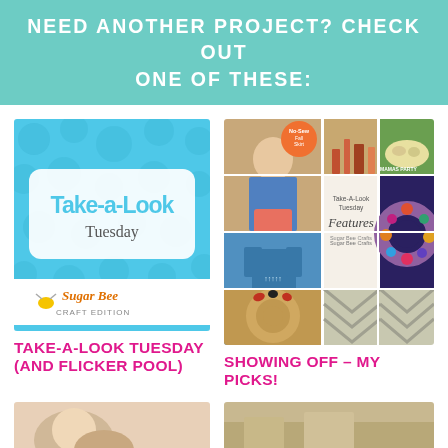NEED ANOTHER PROJECT? CHECK OUT ONE OF THESE:
[Figure (illustration): Take-a-Look Tuesday Sugar Bee Craft Edition logo on teal polka dot background]
TAKE-A-LOOK TUESDAY (AND FLICKER POOL)
[Figure (photo): Collage of craft project photos with Take-A-Look Tuesday Features Sugar Bee Crafts text]
SHOWING OFF – MY PICKS!
[Figure (photo): Partial bottom-left photo thumbnail]
[Figure (photo): Partial bottom-right photo thumbnail]